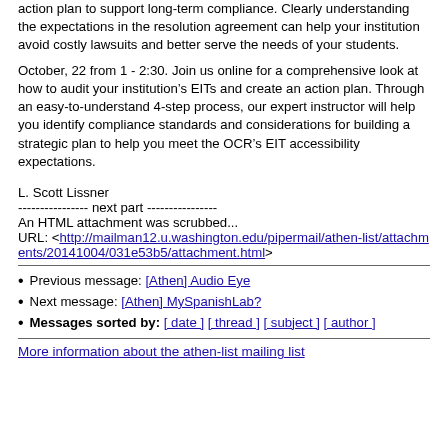action plan to support long-term compliance. Clearly understanding the expectations in the resolution agreement can help your institution avoid costly lawsuits and better serve the needs of your students.
October, 22 from 1 - 2:30. Join us online for a comprehensive look at how to audit your institution’s EITs and create an action plan. Through an easy-to-understand 4-step process, our expert instructor will help you identify compliance standards and considerations for building a strategic plan to help you meet the OCR’s EIT accessibility expectations.
L. Scott Lissner
---------------- next part ----------------
An HTML attachment was scrubbed...
URL: <http://mailman12.u.washington.edu/pipermail/athen-list/attachments/20141004/031e53b5/attachment.html>
Previous message: [Athen] Audio Eye
Next message: [Athen] MySpanishLab?
Messages sorted by: [ date ] [ thread ] [ subject ] [ author ]
More information about the athen-list mailing list